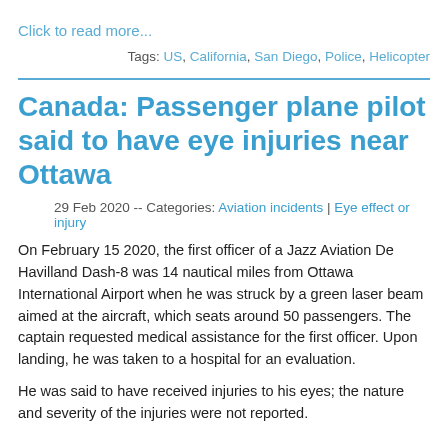Click to read more...
Tags: US, California, San Diego, Police, Helicopter
Canada: Passenger plane pilot said to have eye injuries near Ottawa
29 Feb 2020 -- Categories: Aviation incidents | Eye effect or injury
On February 15 2020, the first officer of a Jazz Aviation De Havilland Dash-8 was 14 nautical miles from Ottawa International Airport when he was struck by a green laser beam aimed at the aircraft, which seats around 50 passengers. The captain requested medical assistance for the first officer. Upon landing, he was taken to a hospital for an evaluation.
He was said to have received injuries to his eyes; the nature and severity of the injuries were not reported.